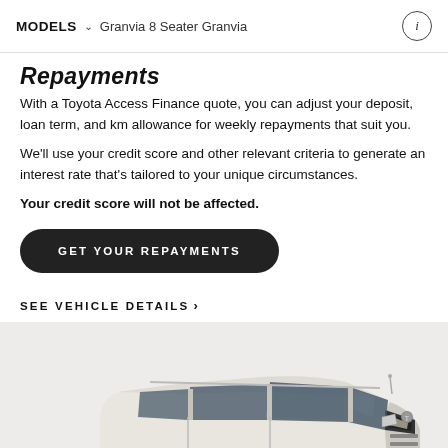MODELS ∨  Granvia 8 Seater Granvia
Repayments
With a Toyota Access Finance quote, you can adjust your deposit, loan term, and km allowance for weekly repayments that suit you.
We'll use your credit score and other relevant criteria to generate an interest rate that's tailored to your unique circumstances.
Your credit score will not be affected.
GET YOUR REPAYMENTS
SEE VEHICLE DETAILS ›
[Figure (photo): Toyota Granvia 8 Seater van in pearl white, front three-quarter view, with GRANVIA badge visible on lower front panel]